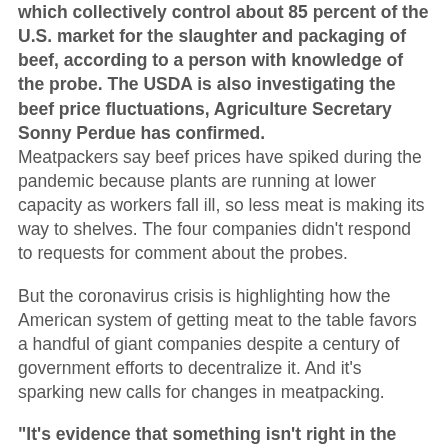Foods, JBS, National Beef and Cargill, which collectively control about 85 percent of the U.S. market for the slaughter and packaging of beef, according to a person with knowledge of the probe. The USDA is also investigating the beef price fluctuations, Agriculture Secretary Sonny Perdue has confirmed.
Meatpackers say beef prices have spiked during the pandemic because plants are running at lower capacity as workers fall ill, so less meat is making its way to shelves. The four companies didn't respond to requests for comment about the probes.
But the coronavirus crisis is highlighting how the American system of getting meat to the table favors a handful of giant companies despite a century of government efforts to decentralize it. And it's sparking new calls for changes in meatpacking.
"It's evidence that something isn't right in the